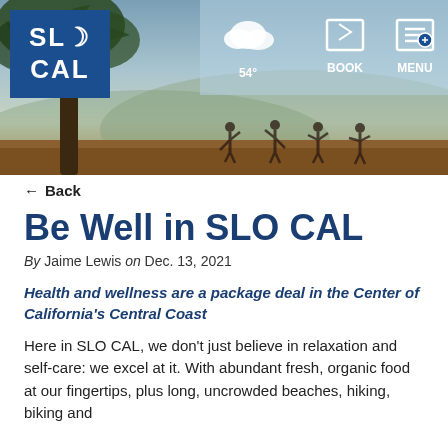[Figure (photo): Outdoor scene with a large tree on the left, people doing yoga/stretching silhouetted against a hazy sky and hills in the background. SLO CAL logo in top-left, navigation icons (weather 54°, BOOK, MENU) in top-right.]
← Back
Be Well in SLO CAL
By Jaime Lewis on Dec. 13, 2021
Health and wellness are a package deal in the Center of California's Central Coast
Here in SLO CAL, we don't just believe in relaxation and self-care: we excel at it. With abundant fresh, organic food at our fingertips, plus long, uncrowded beaches, hiking, biking and